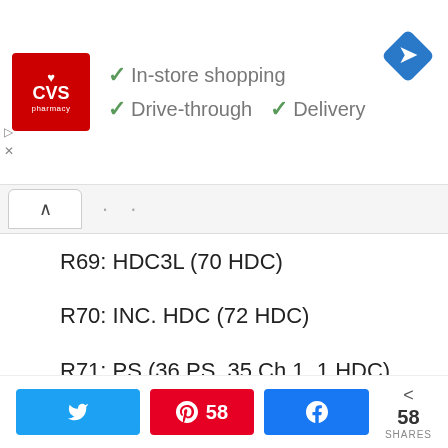[Figure (screenshot): CVS Pharmacy advertisement banner with logo and service features: In-store shopping, Drive-through, Delivery. Navigation diamond icon on right.]
[Figure (screenshot): Tab/chevron up button and navigation dots area]
R69: HDC3L (70 HDC)
R70: INC. HDC (72 HDC)
R71: PS (36 PS, 35 Ch 1, 1 HDC)
R72: INC. HDC (74 HDC)
R73: HDC3L (74 HDC)
[Figure (screenshot): Social share bar with Twitter button, Pinterest button showing 58, Facebook button, and share count of 58 SHARES]